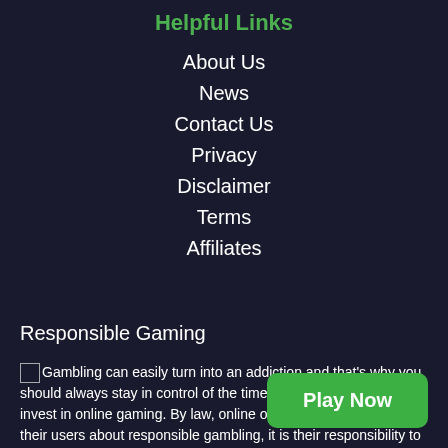Helpful Links
About Us
News
Contact Us
Privacy
Disclaimer
Terms
Affiliates
Responsible Gaming
Gambling can easily turn into an addiction and that's why you should always stay in control of the time and expenditure you invest in online gaming. By law, online operators in the UK inform their users about responsible gambling, it is their responsibility to create a legal, fair and safe environment, where players can relax and enjoy the thrill of an online casino safe in the knowledge that they
Play Now